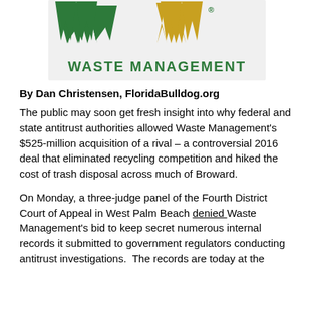[Figure (logo): Waste Management company logo with green and yellow W and M letters above the text WASTE MANAGEMENT in green]
By Dan Christensen, FloridaBulldog.org
The public may soon get fresh insight into why federal and state antitrust authorities allowed Waste Management's $525-million acquisition of a rival – a controversial 2016 deal that eliminated recycling competition and hiked the cost of trash disposal across much of Broward.
On Monday, a three-judge panel of the Fourth District Court of Appeal in West Palm Beach denied Waste Management's bid to keep secret numerous internal records it submitted to government regulators conducting antitrust investigations.  The records are today at the